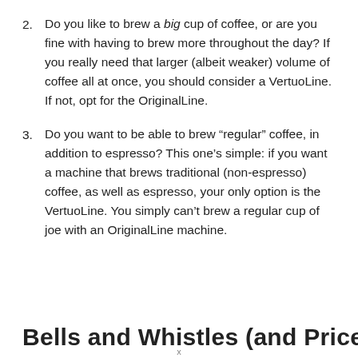2. Do you like to brew a big cup of coffee, or are you fine with having to brew more throughout the day? If you really need that larger (albeit weaker) volume of coffee all at once, you should consider a VertuoLine. If not, opt for the OriginalLine.
3. Do you want to be able to brew “regular” coffee, in addition to espresso? This one’s simple: if you want a machine that brews traditional (non-espresso) coffee, as well as espresso, your only option is the VertuoLine. You simply can’t brew a regular cup of joe with an OriginalLine machine.
Bells and Whistles (and Price)